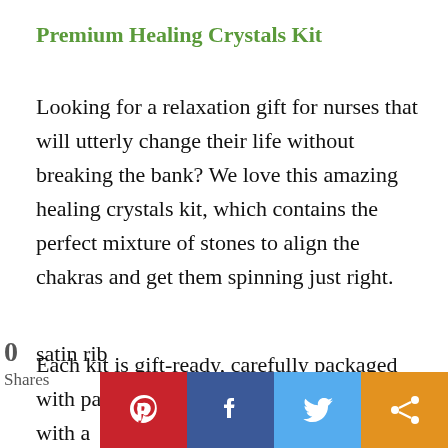Premium Healing Crystals Kit
Looking for a relaxation gift for nurses that will utterly change their life without breaking the bank? We love this amazing healing crystals kit, which contains the perfect mixture of stones to align the chakras and get them spinning just right.
Each kit is gift-ready, carefully packaged with passion in a lovely wooden box tied with a satin rib…
0 Shares | Social share buttons (Pinterest, Facebook, Twitter, Share)